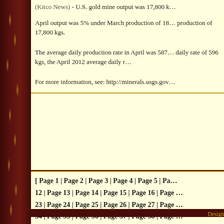(Kitco News) - U.S. gold mine output was 17,800 k...
April output was 5% under March production of 18... production of 17,800 kgs.
The average daily production rate in April was 587... daily rate of 596 kgs, the April 2012 average daily r...
For more information, see: http://minerals.usgs.gov...
[ Page 1 | Page 2 | Page 3 | Page 4 | Page 5 | Pa... 12 | Page 13 | Page 14 | Page 15 | Page 16 | Page... 23 | Page 24 | Page 25 | Page 26 | Page 27 | Page... 34 | Page 35 | Page 36 | Page 37 | Page 38 | Page... 45 | Page 46 | Page 47 | Page 48 | Page 49 | Page... 56
© 2022 Original... Alleghan... Phone: (530) 287-322... Fax: (530) 287-345... E-mail: corp@origsix...
Design